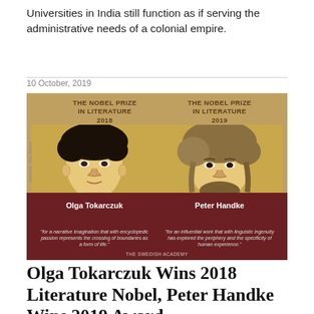Universities in India still function as if serving the administrative needs of a colonial empire.
10 October, 2019
[Figure (illustration): Nobel Prize in Literature 2018 and 2019 announcement image showing illustrated portraits of Olga Tokarczuk (2018) and Peter Handke (2019) with their award citations from The Swedish Academy.]
Olga Tokarczuk Wins 2018 Literature Nobel, Peter Handke Wins 2019 Award